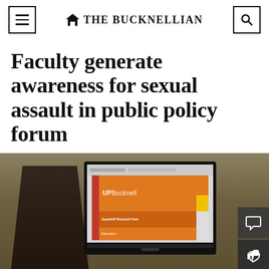THE BUCKNELLIAN
Faculty generate awareness for sexual assault in public policy forum
[Figure (photo): A woman stands in front of a large monitor displaying the SpeakUP Bucknell Peer Education presentation slide with orange and yellow colored blocks and the text 'UPBucknell' and 'SpeakUP Bucknell Peer Education'.]